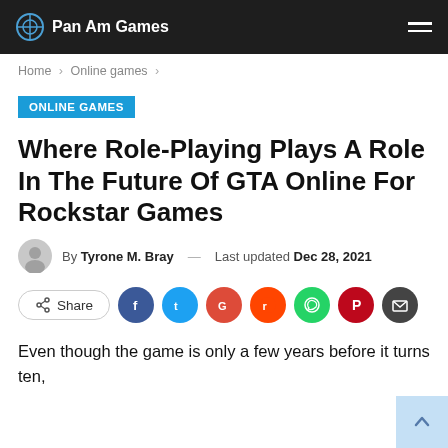Pan Am Games
Home > Online games >
ONLINE GAMES
Where Role-Playing Plays A Role In The Future Of GTA Online For Rockstar Games
By Tyrone M. Bray — Last updated Dec 28, 2021
Share
Even though the game is only a few years before it turns ten,